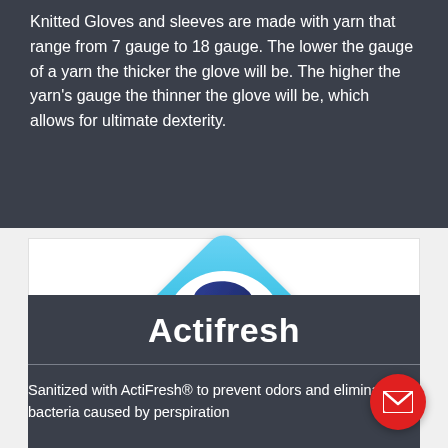Knitted Gloves and sleeves are made with yarn that range from 7 gauge to 18 gauge. The lower the gauge of a yarn the thicker the glove will be. The higher the yarn's gauge the thinner the glove will be, which allows for ultimate dexterity.
[Figure (logo): Sanitized Actifresh logo — a blue diamond shape with a stylized S and the text 'Sanitized' and 'Actifresh' inside]
Actifresh
Sanitized with ActiFresh® to prevent odors and eliminates bacteria caused by perspiration